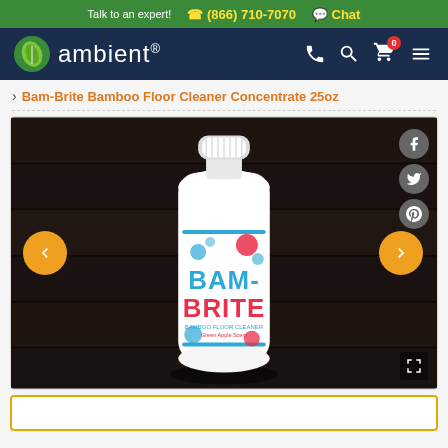Talk to an expert!  ☎ (866) 710-7070  💬 Chat
[Figure (logo): Ambient logo with green leaf icon and white text on dark navy background, with phone, search, cart (0), and menu icons]
> Bam-Brite Bamboo Floor Cleaner Concentrate 25oz
[Figure (photo): Bam-Brite Bamboo Floor Cleaner Concentrate bottle (white plastic bottle with blue and red label showing BAM-BRITE text and bubble designs) on dark wood floor background. Navigation arrows left and right in orange circles. Social share buttons (Facebook, Twitter, Pinterest) on right side.]